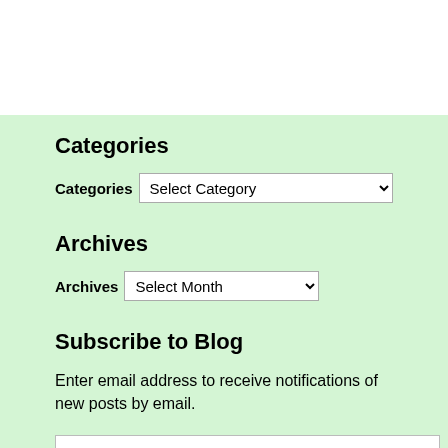Categories
Categories  Select Category
Archives
Archives  Select Month
Subscribe to Blog
Enter email address to receive notifications of new posts by email.
Email Address